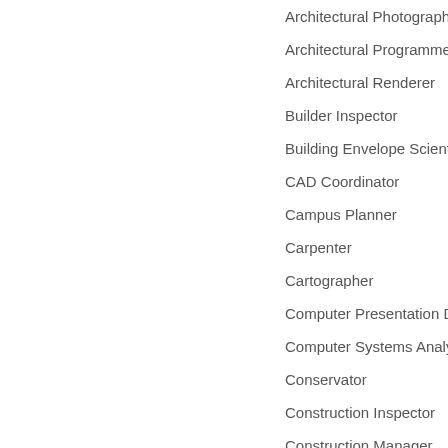Architectural Photograph...
Architectural Programme...
Architectural Renderer
Builder Inspector
Building Envelope Scienti...
CAD Coordinator
Campus Planner
Carpenter
Cartographer
Computer Presentation D...
Computer Systems Analys...
Conservator
Construction Inspector
Construction Manager
Contractor
Corporate Consultant